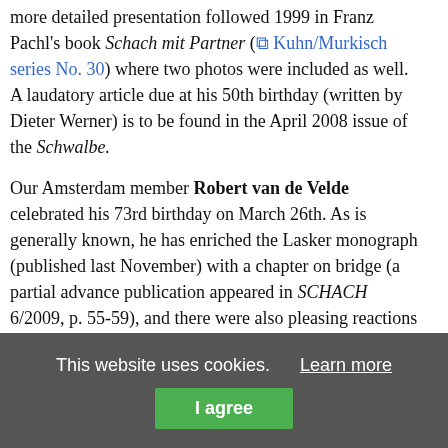more detailed presentation followed 1999 in Franz Pachl's book Schach mit Partner (Kuhn/Murkisch series No. 30) where two photos were included as well. A laudatory article due at his 50th birthday (written by Dieter Werner) is to be found in the April 2008 issue of the Schwalbe.
Our Amsterdam member Robert van de Velde celebrated his 73rd birthday on March 26th. As is generally known, he has enriched the Lasker monograph (published last November) with a chapter on bridge (a partial advance publication appeared in SCHACH 6/2009, p. 55-59), and there were also pleasing reactions in the Dutch paper De Volkskrant (see the links at our page Press Review). Bob still joined in our last January meeting at Wijk aan Zee, and for the upcoming general meeting at Antwerp he has already announced his participation.
This website uses cookies. Learn more I agree